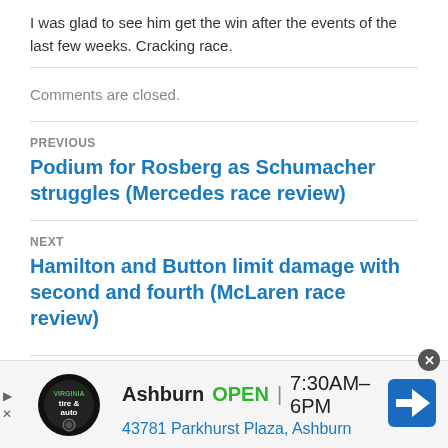I was glad to see him get the win after the events of the last few weeks. Cracking race.
Comments are closed.
PREVIOUS
Podium for Rosberg as Schumacher struggles (Mercedes race review)
NEXT
Hamilton and Button limit damage with second and fourth (McLaren race review)
[Figure (infographic): Advertisement banner: Virginia Tire & Auto logo, Ashburn OPEN | 7:30AM-6PM, 43781 Parkhurst Plaza, Ashburn, with a blue navigation arrow icon]